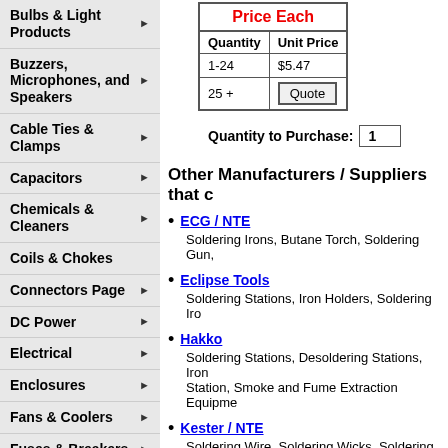Bulbs & Light Products
Buzzers, Microphones, and Speakers
Cable Ties & Clamps
Capacitors
Chemicals & Cleaners
Coils & Chokes
Connectors Page
DC Power
Electrical
Enclosures
Fans & Coolers
Fuses & Breakers
Hardware
Heat Shrink Tubing
Inductors
| Quantity | Unit Price |
| --- | --- |
| 1-24 | $5.47 |
| 25 + | Quote |
Quantity to Purchase: 1
Other Manufacturers / Suppliers that c
ECG / NTE — Soldering Irons, Butane Torch, Soldering Gun,
Eclipse Tools — Soldering Stations, Iron Holders, Soldering Iro
Hakko — Soldering Stations, Desoldering Stations, Iron ... Station, Smoke and Fume Extraction Equipme
Kester / NTE — Soldering Wire, Soldering Wicks, Soldering Ma... Thinners